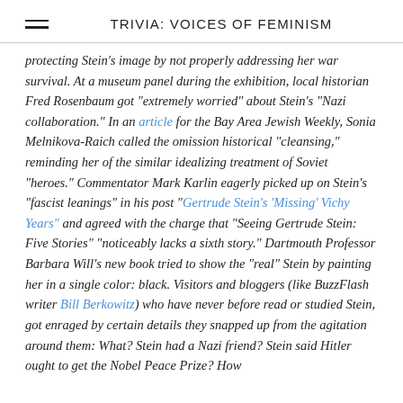TRIVIA: VOICES OF FEMINISM
protecting Stein's image by not properly addressing her war survival. At a museum panel during the exhibition, local historian Fred Rosenbaum got "extremely worried" about Stein's "Nazi collaboration." In an article for the Bay Area Jewish Weekly, Sonia Melnikova-Raich called the omission historical "cleansing," reminding her of the similar idealizing treatment of Soviet "heroes." Commentator Mark Karlin eagerly picked up on Stein's "fascist leanings" in his post "Gertrude Stein's 'Missing' Vichy Years" and agreed with the charge that "Seeing Gertrude Stein: Five Stories" "noticeably lacks a sixth story." Dartmouth Professor Barbara Will's new book tried to show the "real" Stein by painting her in a single color: black. Visitors and bloggers (like BuzzFlash writer Bill Berkowitz) who have never before read or studied Stein, got enraged by certain details they snapped up from the agitation around them: What? Stein had a Nazi friend? Stein said Hitler ought to get the Nobel Peace Prize? How